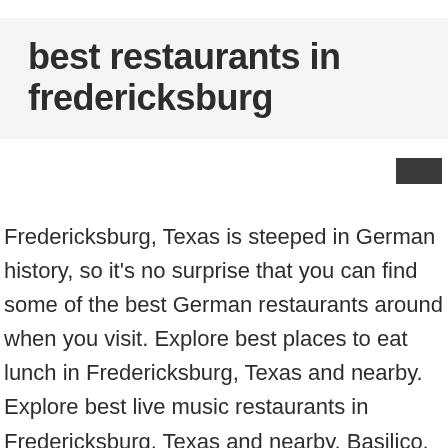best restaurants in fredericksburg
[Figure (other): Small dark rectangular UI element on the right side]
Fredericksburg, Texas is steeped in German history, so it’s no surprise that you can find some of the best German restaurants around when you visit. Explore best places to eat lunch in Fredericksburg, Texas and nearby. Explore best live music restaurants in Fredericksburg, Texas and nearby. Basilico. Farm-to-table dining is the norm in Fredericksburg, as the Fredericksburg area … Zoom in to see updated info. Josh was our server … Pasta Bella Restaurant Menus, Photos, Ratings and Reviews for Best Restaurants in Fredericksburg,